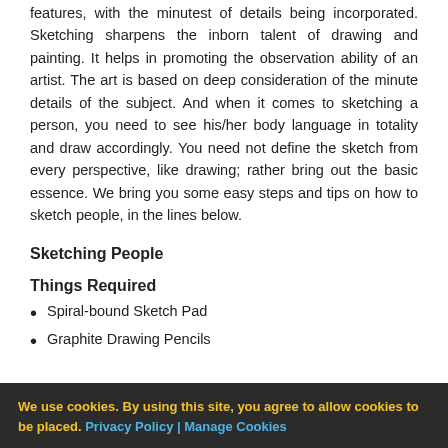features, with the minutest of details being incorporated. Sketching sharpens the inborn talent of drawing and painting. It helps in promoting the observation ability of an artist. The art is based on deep consideration of the minute details of the subject. And when it comes to sketching a person, you need to see his/her body language in totality and draw accordingly. You need not define the sketch from every perspective, like drawing; rather bring out the basic essence. We bring you some easy steps and tips on how to sketch people, in the lines below.
Sketching People
Things Required
Spiral-bound Sketch Pad
Graphite Drawing Pencils
We use cookies. By using this site, you agree to allow cookies to be placed. Privacy Policy | Manage Cookies